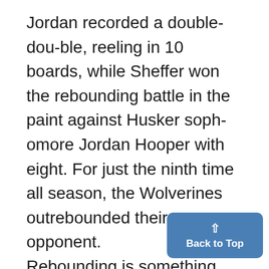Jordan recorded a double-double, reeling in 10 boards, while Sheffer won the rebounding battle in the paint against Husker sophomore Jordan Hooper with eight. For just the ninth time all season, the Wolverines outrebounded their opponent. Rebounding is something the team has prioritized all season, and the 48-30 advantage on the boards was one of many reasons Michigan was successful in completing the upset.